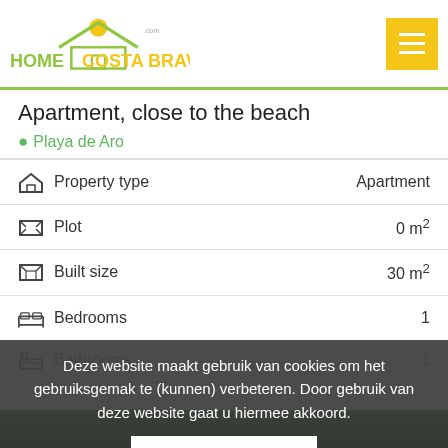HomeCostaBrava.com
Apartment, close to the beach
Playa de Aro
| Property | Value |
| --- | --- |
| Property type | Apartment |
| Plot | 0 m² |
| Built size | 30 m² |
| Bedrooms | 1 |
| Bathrooms | 1 |
Deze website maakt gebruik van cookies om het gebruiksgemak te (kunnen) verbeteren. Door gebruik van deze website gaat u hiermee akkoord.
Melding sluiten
[Figure (photo): Interior photo of a room, partially visible at the bottom of the page]